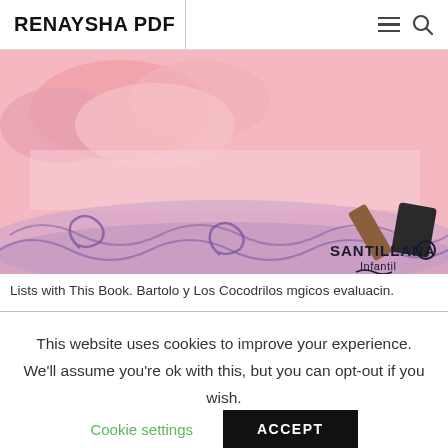RENAYSHA PDF
[Figure (illustration): Book cover illustration featuring pink and purple swirling clouds/waves with Santillana Infantil logo in the bottom right corner and what appears to be chocolate or wooden objects in the top right]
Lists with This Book. Bartolo y Los Cocodrilos mgicos evaluacin.
This website uses cookies to improve your experience. We'll assume you're ok with this, but you can opt-out if you wish.
Cookie settings   ACCEPT